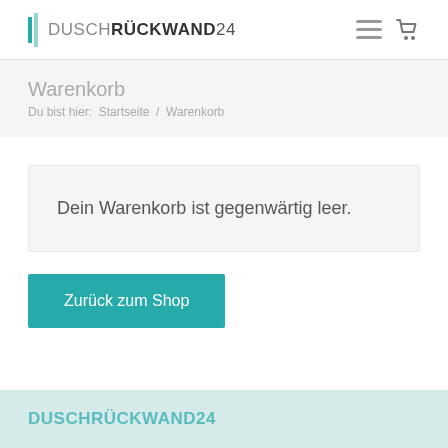DUSCHRÜCKWAND24
Warenkorb
Du bist hier: Startseite / Warenkorb
Dein Warenkorb ist gegenwärtig leer.
Zurück zum Shop
DUSCHRÜCKWAND24